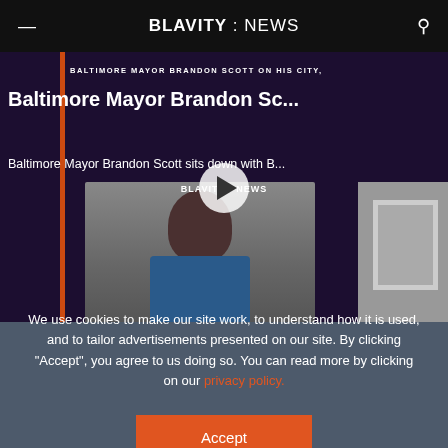BLAVITY : NEWS
[Figure (screenshot): Video thumbnail showing Baltimore Mayor Brandon Scott interview on Blavity News, with a person visible in the background and a play button overlay. Orange border on left side of video frame.]
Baltimore Mayor Brandon Sc...
Baltimore Mayor Brandon Scott sits down with B...
We use cookies to make our site work, to understand how it is used, and to tailor advertisements presented on our site. By clicking "Accept", you agree to us doing so. You can read more by clicking on our privacy policy.
Accept